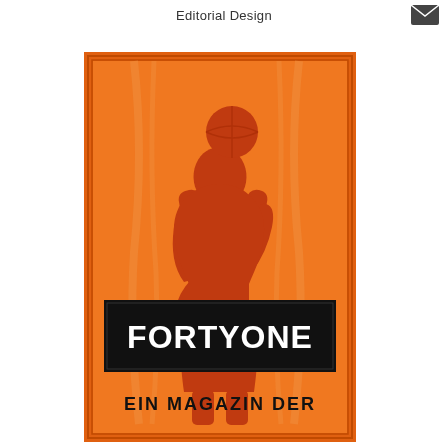Editorial Design
[Figure (illustration): Magazine cover of FORTYONE showing an orange background with a dark red silhouette of a basketball player shooting a ball overhead. A black banner across the lower middle reads 'FORTYONE' in white bold text. Below the banner is text 'EIN MAGAZIN DER'. The cover has a decorative double border.]